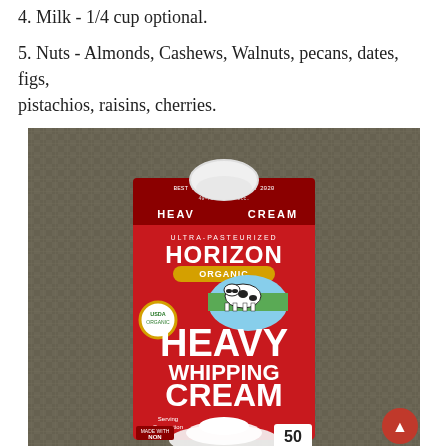4. Milk -  1/4 cup optional.
5. Nuts - Almonds, Cashews, Walnuts, pecans, dates, figs, pistachios, raisins, cherries.
[Figure (photo): Photo of a Horizon Organic Heavy Whipping Cream carton (red) on a woven basket/rattan background. The carton shows 'BEST IF USED BY: 04 APR 2020', ULTRA-PASTEURIZED, HORIZON ORGANIC branding with a cow illustration, USDA Organic badge, and '50 CALORIES PER SERVING'. Large white text reads 'HEAVY WHIPPING CREAM'. A red back-to-top arrow button is visible in the bottom right corner.]